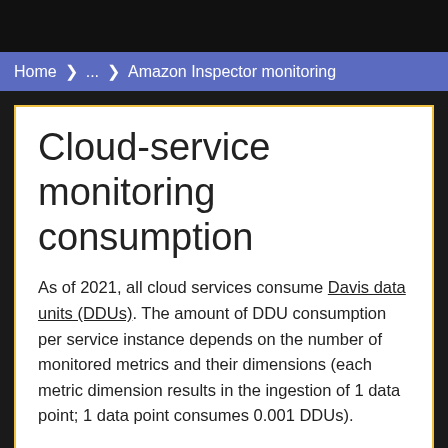Home > ... > Amazon Inspector monitoring
Cloud-service monitoring consumption
As of 2021, all cloud services consume Davis data units (DDUs). The amount of DDU consumption per service instance depends on the number of monitored metrics and their dimensions (each metric dimension results in the ingestion of 1 data point; 1 data point consumes 0.001 DDUs).